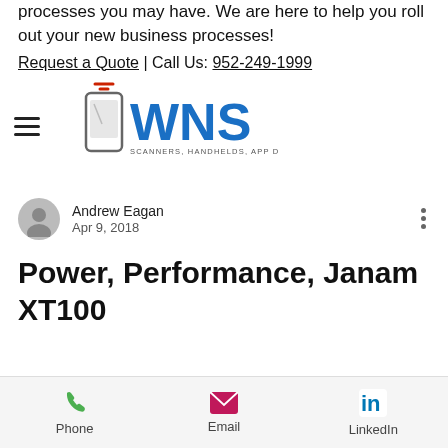processes you may have. We are here to help you roll out your new business processes!
Request a Quote | Call Us: 952-249-1999
[Figure (logo): WNS logo with mobile device icon and tagline SCANNERS, HANDHELDS, APP DEVELOPMENT]
Andrew Eagan
Apr 9, 2018
Power, Performance, Janam XT100
[Figure (infographic): Bottom navigation bar with Phone, Email, and LinkedIn icons]